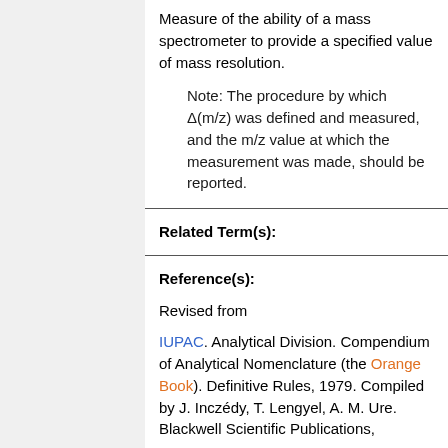Measure of the ability of a mass spectrometer to provide a specified value of mass resolution.
Note: The procedure by which Δ(m/z) was defined and measured, and the m/z value at which the measurement was made, should be reported.
Related Term(s):
Reference(s):
Revised from
IUPAC. Analytical Division. Compendium of Analytical Nomenclature (the Orange Book). Definitive Rules, 1979. Compiled by J. Inczédy, T. Lengyel, A. M. Ure. Blackwell Scientific Publications,